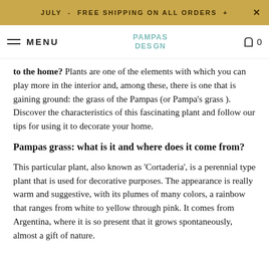JULY - FREE SHIPPING ON ALL ORDERS + ×
MENU | PAMPAS DESIGN | 0
to the home? Plants are one of the elements with which you can play more in the interior and, among these, there is one that is gaining ground: the grass of the Pampas (or Pampa's grass). Discover the characteristics of this fascinating plant and follow our tips for using it to decorate your home.
Pampas grass: what is it and where does it come from?
This particular plant, also known as 'Cortaderia', is a perennial type plant that is used for decorative purposes. The appearance is really warm and suggestive, with its plumes of many colors, a rainbow that ranges from white to yellow through pink. It comes from Argentina, where it is so present that it grows spontaneously, almost a gift of nature.